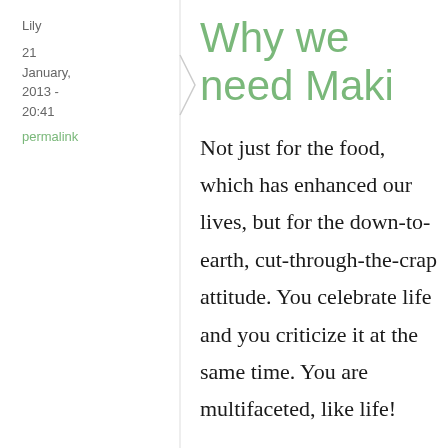Lily
21 January, 2013 - 20:41
permalink
Why we need Maki
Not just for the food, which has enhanced our lives, but for the down-to-earth, cut-through-the-crap attitude. You celebrate life and you criticize it at the same time. You are multifaceted, like life!